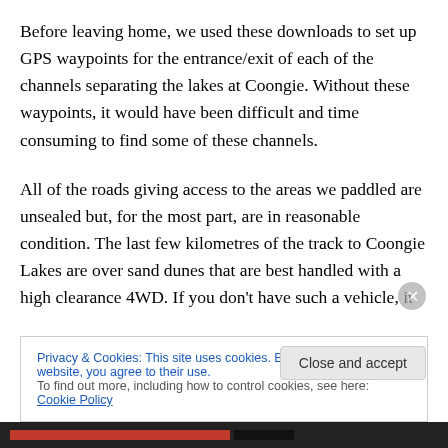Before leaving home, we used these downloads to set up GPS waypoints for the entrance/exit of each of the channels separating the lakes at Coongie. Without these waypoints, it would have been difficult and time consuming to find some of these channels.
All of the roads giving access to the areas we paddled are unsealed but, for the most part, are in reasonable condition. The last few kilometres of the track to Coongie Lakes are over sand dunes that are best handled with a high clearance 4WD. If you don't have such a vehicle, it
Privacy & Cookies: This site uses cookies. By continuing to use this website, you agree to their use.
To find out more, including how to control cookies, see here: Cookie Policy
Close and accept